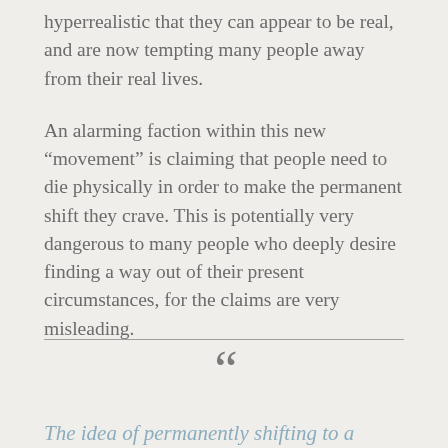hyperrealistic that they can appear to be real, and are now tempting many people away from their real lives.
An alarming faction within this new “movement” is claiming that people need to die physically in order to make the permanent shift they crave. This is potentially very dangerous to many people who deeply desire finding a way out of their present circumstances, for the claims are very misleading.
The idea of permanently shifting to a